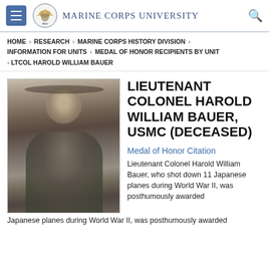Marine Corps University
HOME > RESEARCH > MARINE CORPS HISTORY DIVISION > INFORMATION FOR UNITS > MEDAL OF HONOR RECIPIENTS BY UNIT > LTCOL HAROLD WILLIAM BAUER
LIEUTENANT COLONEL HAROLD WILLIAM BAUER, USMC (DECEASED)
[Figure (photo): Black and white portrait photograph of Lieutenant Colonel Harold William Bauer in Marine Corps dress uniform with cap]
Medal of Honor Citation
Lieutenant Colonel Harold William Bauer, who shot down 11 Japanese planes during World War II, was posthumously awarded